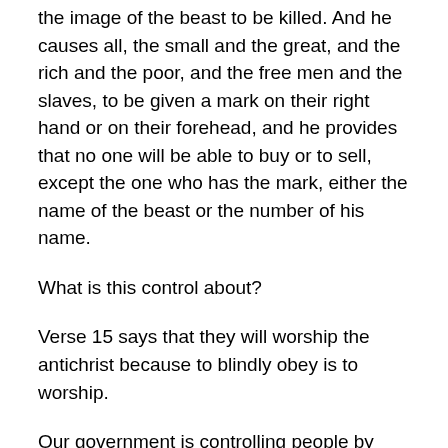the image of the beast to be killed. And he causes all, the small and the great, and the rich and the poor, and the free men and the slaves, to be given a mark on their right hand or on their forehead, and he provides that no one will be able to buy or to sell, except the one who has the mark, either the name of the beast or the number of his name.
What is this control about?
Verse 15 says that they will worship the antichrist because to blindly obey is to worship.
Our government is controlling people by creating fear in them, by threatening them with consequences, by shaming them, and by peer pressure. Dr Fauci was quoted last week as saying, "be a responsible citizen and just do what you are told." The media has communicated huge amounts of skewed, biased, and false information in